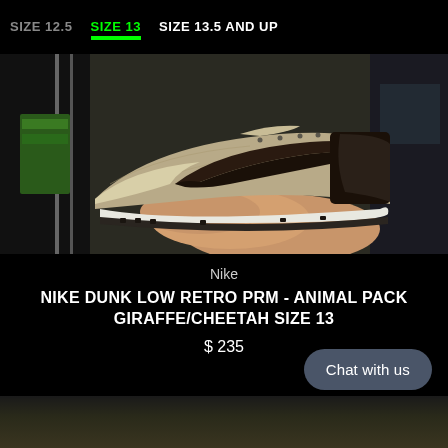SIZE 12.5   SIZE 13   SIZE 13.5 AND UP
[Figure (photo): A Nike sneaker (Dunk Low) being held by a hand, showing the side profile with a beige/tan suede upper, dark brown swoosh, and white sole. Store shelving visible in background.]
Nike
NIKE DUNK LOW RETRO PRM - ANIMAL PACK GIRAFFE/CHEETAH SIZE 13
$ 235
Chat with us
[Figure (photo): Partial bottom image showing store shelving and shoes, cut off at the bottom of the page.]